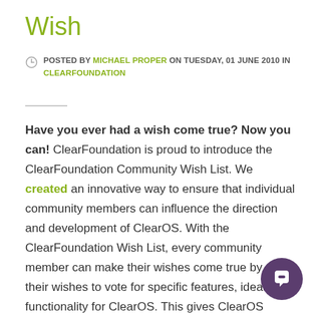Wish
POSTED BY MICHAEL PROPER ON TUESDAY, 01 JUNE 2010 IN CLEARFOUNDATION
Have you ever had a wish come true? Now you can! ClearFoundation is proud to introduce the ClearFoundation Community Wish List. We created an innovative way to ensure that individual community members can influence the direction and development of ClearOS. With the ClearFoundation Wish List, every community member can make their wishes come true by using their wishes to vote for specific features, ideas and functionality for ClearOS. This gives ClearOS developers and the ClearFoundation Team direct input from the people that use ClearOS! Like the idea? Log in and give it a try!